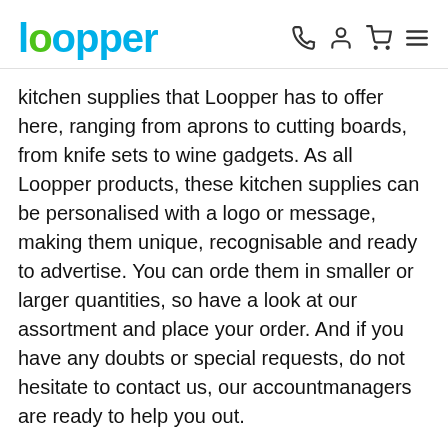Loopper [logo with nav icons]
kitchen supplies that Loopper has to offer here, ranging from aprons to cutting boards, from knife sets to wine gadgets. As all Loopper products, these kitchen supplies can be personalised with a logo or message, making them unique, recognisable and ready to advertise. You can orde them in smaller or larger quantities, so have a look at our assortment and place your order. And if you have any doubts or special requests, do not hesitate to contact us, our accountmanagers are ready to help you out.